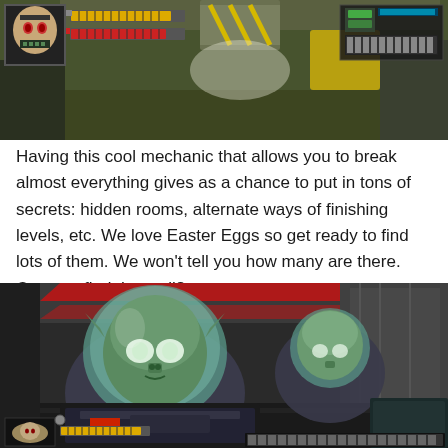[Figure (screenshot): Top portion of a retro-style video game screenshot showing a HUD with a character portrait (skull-faced character), yellow health/ammo bars, red bar, and a weapon indicator with green and grey bars in the upper right. The environment shows industrial/sci-fi setting.]
Having this cool mechanic that allows you to break almost everything gives as a chance to put in tons of secrets: hidden rooms, alternate ways of finishing levels, etc. We love Easter Eggs so get ready to find lots of them. We won't tell you how many are there. Can you find them all?
[Figure (screenshot): Bottom portion of the same retro-style video game showing alien enemies (green-skinned creatures with large heads in space suits) in a first-person perspective inside a sci-fi corridor with red lighting. The HUD shows similar health bars at the bottom. The player appears to be holding a weapon.]